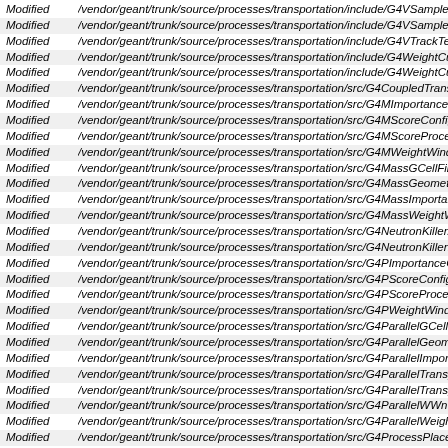Modified   /vendor/geant/trunk/source/processes/transportation/include/G4VSampler.hh
Modified   /vendor/geant/trunk/source/processes/transportation/include/G4VSamplerConfigurator.
Modified   /vendor/geant/trunk/source/processes/transportation/include/G4VTrackTerminator.hh
Modified   /vendor/geant/trunk/source/processes/transportation/include/G4WeightCutOffConfigura
Modified   /vendor/geant/trunk/source/processes/transportation/include/G4WeightCutOffProcess.
Modified   /vendor/geant/trunk/source/processes/transportation/src/G4CoupledTransportation.cc
Modified   /vendor/geant/trunk/source/processes/transportation/src/G4MImportanceConfigurator.c
Modified   /vendor/geant/trunk/source/processes/transportation/src/G4MScoreConfigurator.cc
Modified   /vendor/geant/trunk/source/processes/transportation/src/G4MScoreProcess.cc
Modified   /vendor/geant/trunk/source/processes/transportation/src/G4MWeightWindowConfigura
Modified   /vendor/geant/trunk/source/processes/transportation/src/G4MassGCellFinder.cc
Modified   /vendor/geant/trunk/source/processes/transportation/src/G4MassGeometrySampler.cc
Modified   /vendor/geant/trunk/source/processes/transportation/src/G4MassImportanceProcess.c
Modified   /vendor/geant/trunk/source/processes/transportation/src/G4MassWeightWindowProces
Modified   /vendor/geant/trunk/source/processes/transportation/src/G4NeutronKiller.cc
Modified   /vendor/geant/trunk/source/processes/transportation/src/G4NeutronKillerMessenger.cc
Modified   /vendor/geant/trunk/source/processes/transportation/src/G4PImportanceConfigurator.c
Modified   /vendor/geant/trunk/source/processes/transportation/src/G4PScoreConfigurator.cc
Modified   /vendor/geant/trunk/source/processes/transportation/src/G4PScoreProcess.cc
Modified   /vendor/geant/trunk/source/processes/transportation/src/G4PWeightWindowConfigurat
Modified   /vendor/geant/trunk/source/processes/transportation/src/G4ParallelGCellFinder.cc
Modified   /vendor/geant/trunk/source/processes/transportation/src/G4ParallelGeometrySampler.c
Modified   /vendor/geant/trunk/source/processes/transportation/src/G4ParallelImportanceProcess
Modified   /vendor/geant/trunk/source/processes/transportation/src/G4ParallelTransport.cc
Modified   /vendor/geant/trunk/source/processes/transportation/src/G4ParallelTransportConfigura
Modified   /vendor/geant/trunk/source/processes/transportation/src/G4ParallelWWnTransportProc
Modified   /vendor/geant/trunk/source/processes/transportation/src/G4ParallelWeightWindowProc
Modified   /vendor/geant/trunk/source/processes/transportation/src/G4ProcessPlacer.cc
Modified   /vendor/geant/trunk/source/processes/transportation/src/G4SamplingPostStepAction.c
Modified   /vendor/geant/trunk/source/processes/transportation/src/G4StepLimiter.cc